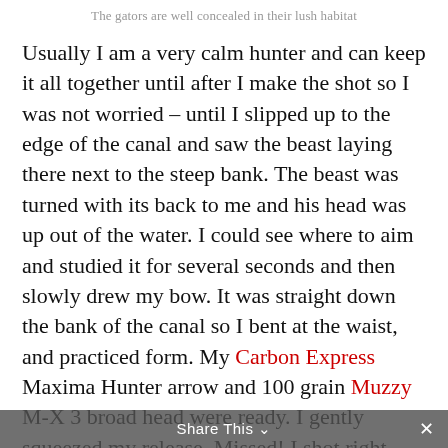The gators are well concealed in their lush habitat
Usually I am a very calm hunter and can keep it all together until after I make the shot so I was not worried – until I slipped up to the edge of the canal and saw the beast laying there next to the steep bank. The beast was turned with its back to me and his head was up out of the water. I could see where to aim and studied it for several seconds and then slowly drew my bow. It was straight down the bank of the canal so I bent at the waist, and practiced form. My Carbon Express Maxima Hunter arrow and 100 grain Muzzy M-X 3 broad head were ready. I gently squeezed my release. Missed! I shot right beside his head to the left, kasploosh! I knew it was game over but the gator never moved
Share This